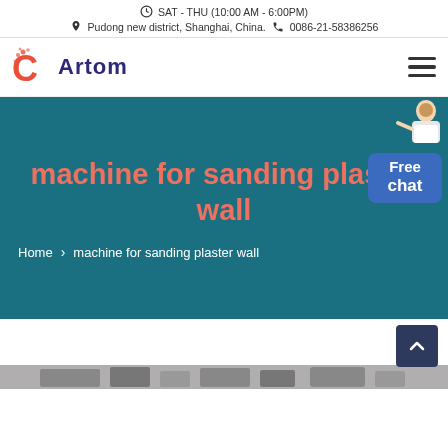SAT - THU (10:00 AM - 6:00PM)
Pudong new district, Shanghai, China.  0086-21-58386256
[Figure (logo): Artom company logo with red C icon and dark blue Artom text]
machine for sanding plaster wall
Home > machine for sanding plaster wall
[Figure (photo): Product image strip at bottom showing machine equipment]